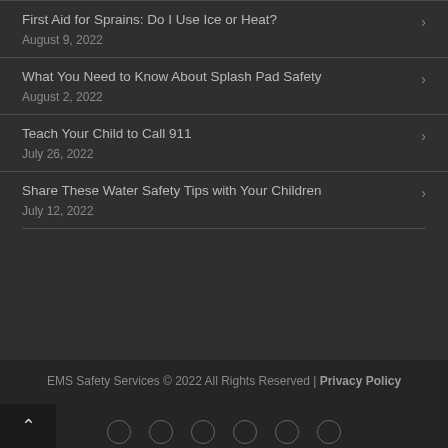First Aid for Sprains: Do I Use Ice or Heat?
August 9, 2022
What You Need to Know About Splash Pad Safety
August 2, 2022
Teach Your Child to Call 911
July 26, 2022
Share These Water Safety Tips with Your Children
July 12, 2022
EMS Safety Services © 2022 All Rights Reserved | Privacy Policy